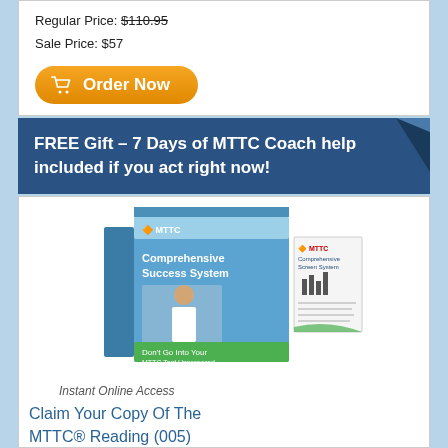Regular Price: $110.95
Sale Price: $57
Order Now
Only 5 left - More openings in 3-7 weeks.
FREE Gift – 7 Days of MTTC Coach help included if you act right now!
[Figure (photo): MTTC Comprehensive Success System product box and sample pages, with text 'Don't Go Into Your MTTC Test Unprepared' and 'Instant Online Access']
Claim Your Copy Of The MTTC® Reading (005) Comprehensive Success System and 'Exam-Like' Practice Test